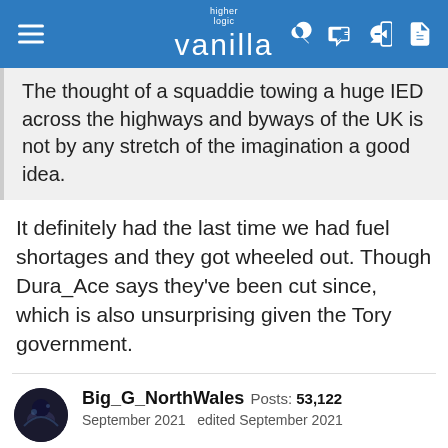higher logic vanilla
The thought of a squaddie towing a huge IED across the highways and byways of the UK is not by any stretch of the imagination a good idea.
It definitely had the last time we had fuel shortages and they got wheeled out. Though Dura_Ace says they've been cut since, which is also unsurprising given the Tory government.
Big_G_NorthWales  Posts: 53,122  September 2021  edited September 2021
Nigelb said:
show previous quotes
Enough of the ad homs, Big-G.
It's beneath you.